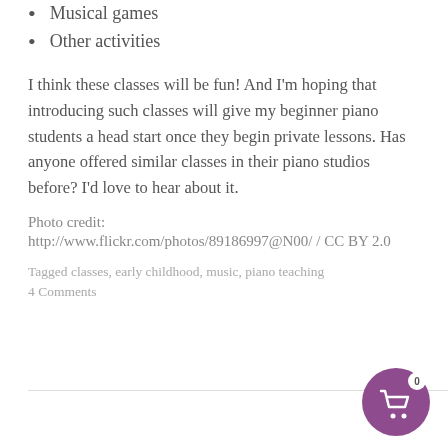Musical games
Other activities
I think these classes will be fun!  And I'm hoping that introducing  such classes will give my beginner piano students a head start once they begin private lessons.  Has anyone offered similar classes in their piano studios before?  I'd love to hear about it.
Photo credit:
http://www.flickr.com/photos/89186997@N00/ / CC BY 2.0
Tagged classes, early childhood, music, piano teaching
4 Comments